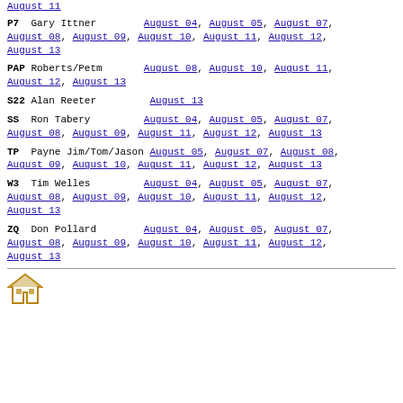August 11 (partial, top of page)
P7  Gary Ittner   August 04, August 05, August 07, August 08, August 09, August 10, August 11, August 12, August 13
PAP  Roberts/Petm   August 08, August 10, August 11, August 12, August 13
S22  Alan Reeter   August 13
SS  Ron Tabery   August 04, August 05, August 07, August 08, August 09, August 11, August 12, August 13
TP  Payne Jim/Tom/Jason   August 05, August 07, August 08, August 09, August 10, August 11, August 12, August 13
W3  Tim Welles   August 04, August 05, August 07, August 08, August 09, August 10, August 11, August 12, August 13
ZQ  Don Pollard   August 04, August 05, August 07, August 08, August 09, August 10, August 11, August 12, August 13
[Figure (logo): House/building logo at bottom of page]